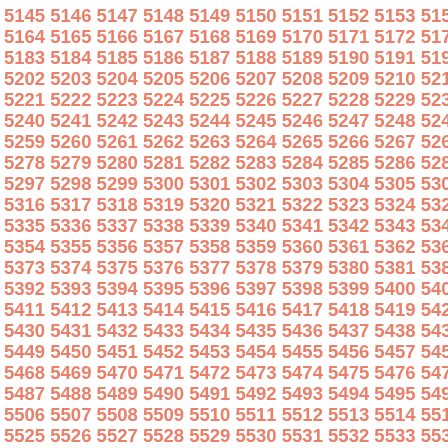Sequential numbers from 5145 to approximately 5553, arranged in rows of 13 numbers each, displayed in salmon/coral color on white background.